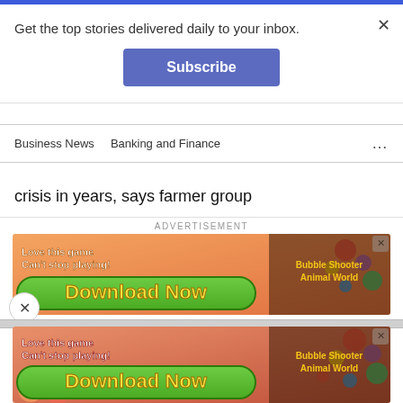Get the top stories delivered daily to your inbox.
Subscribe
Business News   Banking and Finance
crisis in years, says farmer group
ADVERTISEMENT
[Figure (other): Game advertisement banner: 'Love this game Can't stop playing! Download Now - Bubble Shooter Animal World']
[Figure (other): Game advertisement banner (second, larger): 'Love this game Can't stop playing! Download Now - Bubble Shooter Animal World']